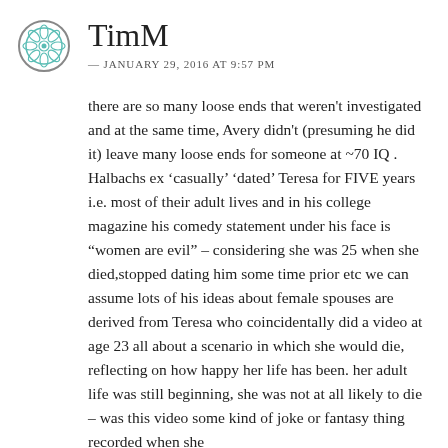TimM
— JANUARY 29, 2016 AT 9:57 PM
there are so many loose ends that weren't investigated and at the same time, Avery didn't (presuming he did it) leave many loose ends for someone at ~70 IQ . Halbachs ex ‘casually’ ‘dated’ Teresa for FIVE years i.e. most of their adult lives and in his college magazine his comedy statement under his face is “women are evil” – considering she was 25 when she died,stopped dating him some time prior etc we can assume lots of his ideas about female spouses are derived from Teresa who coincidentally did a video at age 23 all about a scenario in which she would die, reflecting on how happy her life has been. her adult life was still beginning, she was not at all likely to die – was this video some kind of joke or fantasy thing recorded when she